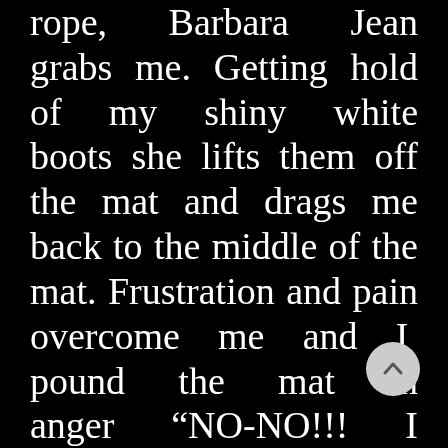rope, Barbara Jean grabs me. Getting hold of my shiny white boots she lifts them off the mat and drags me back to the middle of the mat. Frustration and pain overcome me and I pound the mat in anger “NO-NO!!! I can’t take any more!”

Everyone in the ar has heard me cry out.